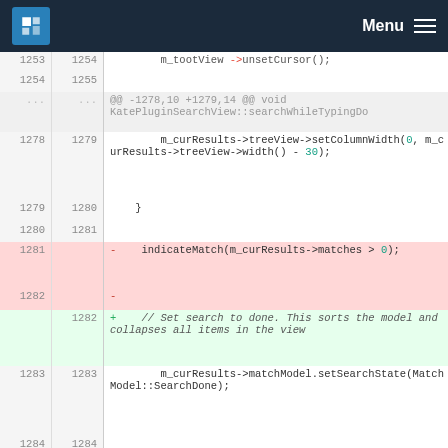KDE Menu
[Figure (screenshot): Code diff view showing changes to KatePluginSearchView with line numbers, deleted lines highlighted in red and added lines in green]
m_tootView->unsetCursor();
@@ -1278,10 +1279,14 @@ void KatePluginSearchView::searchWhileTypingDo
m_curResults->treeView->setColumnWidth(0, m_curResults->treeView->width() - 30);
}
- indicateMatch(m_curResults->matches > 0);
+ // Set search to done. This sorts the model and collapses all items in the view
m_curResults->matchModel.setSearchState(MatchModel::SearchDone);
+ // expand the "header item" to display all files and all results